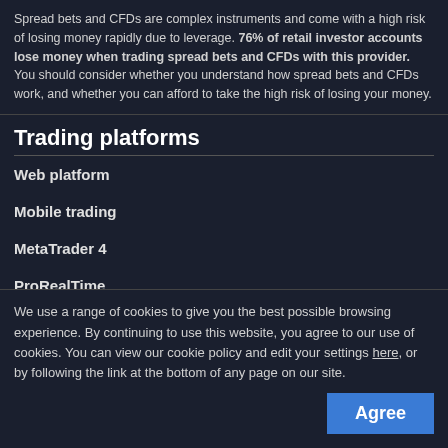Spread bets and CFDs are complex instruments and come with a high risk of losing money rapidly due to leverage. 76% of retail investor accounts lose money when trading spread bets and CFDs with this provider. You should consider whether you understand how spread bets and CFDs work, and whether you can afford to take the high risk of losing your money.
Trading platforms
Web platform
Mobile trading
MetaTrader 4
ProRealTime
Compare features
Learn to trade
The Week Ahead
We use a range of cookies to give you the best possible browsing experience. By continuing to use this website, you agree to our use of cookies. You can view our cookie policy and edit your settings here, or by following the link at the bottom of any page on our site.
Agree